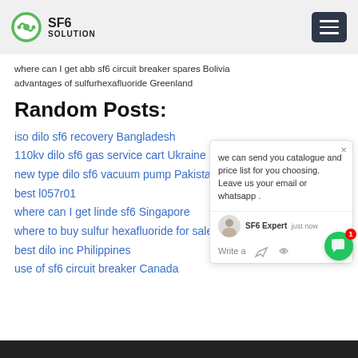SF6 SOLUTION
where can I get abb sf6 circuit breaker spares Bolivia advantages of sulfurhexafluoride Greenland
Random Posts:
iso dilo sf6 recovery Bangladesh
110kv dilo sf6 gas service cart Ukraine
new type dilo sf6 vacuum pump Pakistan
best l057r01
where can I get linde sf6 Singapore
where to buy sulfur hexafluoride for sale Europe
best dilo inc Philippines
use of sf6 circuit breaker Canada
[Figure (screenshot): Chat popup widget showing SF6 Expert message: 'we can send you catalogue and price list for you choosing. Leave us your email or whatsapp.' with agent avatar and input row. Green chat bubble button with red badge showing 1.]